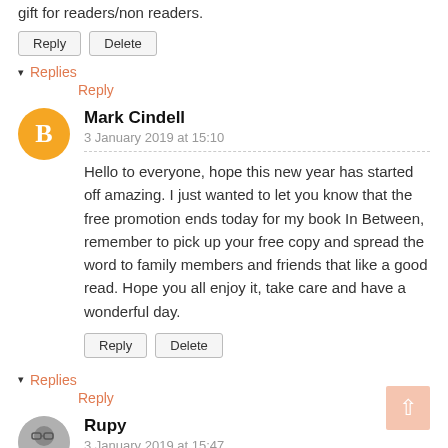gift for readers/non readers.
Reply   Delete
▾ Replies
        Reply
Mark Cindell
3 January 2019 at 15:10
Hello to everyone, hope this new year has started off amazing. I just wanted to let you know that the free promotion ends today for my book In Between, remember to pick up your free copy and spread the word to family members and friends that like a good read. Hope you all enjoy it, take care and have a wonderful day.
Reply   Delete
▾ Replies
        Reply
Rupy
3 January 2019 at 15:47
Thanks for recommend this book. I put it in my reading